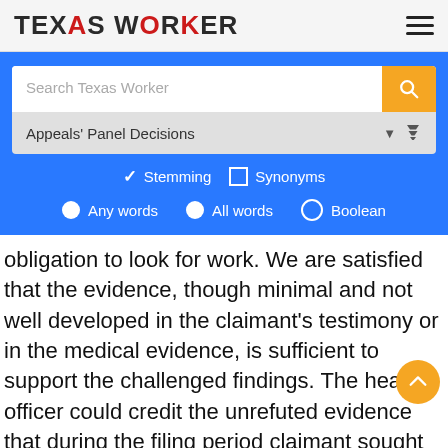TEXAS WORKER
[Figure (screenshot): Website search interface for Texas Worker with search bar, Appeals' Panel Decisions dropdown, Stemming/Synonyms checkboxes, and Any words/All words/Boolean radio buttons on blue background]
obligation to look for work. We are satisfied that the evidence, though minimal and not well developed in the claimant's testimony or in the medical evidence, is sufficient to support the challenged findings. The hearing officer could credit the unrefuted evidence that during the filing period claimant sought any kind of light duty work from three contractors as well as work at a nursery as a good faith attempt to obtain